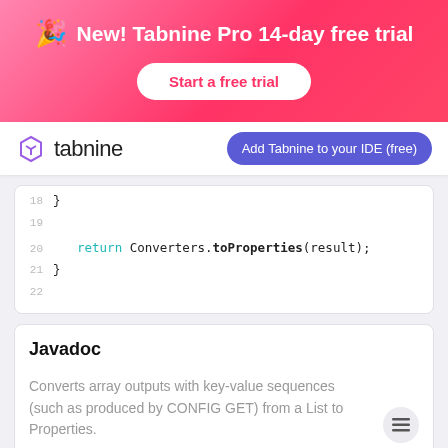[Figure (infographic): Pink-to-red gradient banner advertising Tabnine Pro 14-day free trial with party emoji and a 'Start a free trial' button]
[Figure (infographic): Tabnine logo on white navbar with 'Add Tabnine to your IDE (free)' purple pill button on right]
[Figure (screenshot): Code editor snippet showing lines 18-22 with return Converters.toProperties(result); statement]
Javadoc
Converts array outputs with key-value sequences (such as produced by CONFIG GET) from a List to Properties.